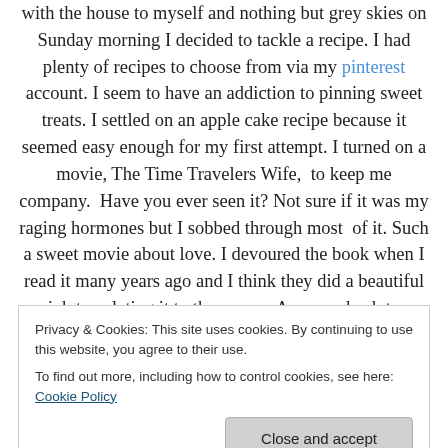with the house to myself and nothing but grey skies on Sunday morning I decided to tackle a recipe. I had plenty of recipes to choose from via my pinterest account. I seem to have an addiction to pinning sweet treats. I settled on an apple cake recipe because it seemed easy enough for my first attempt. I turned on a movie, The Time Travelers Wife,  to keep me company.  Have you ever seen it? Not sure if it was my raging hormones but I sobbed through most  of it. Such a sweet movie about love. I devoured the book when I read it many years ago and I think they did a beautiful job translating it to the screen. Anyway, back to
Privacy & Cookies: This site uses cookies. By continuing to use this website, you agree to their use. To find out more, including how to control cookies, see here: Cookie Policy
It was a very easy recipe- I didn't get overwhelmed and